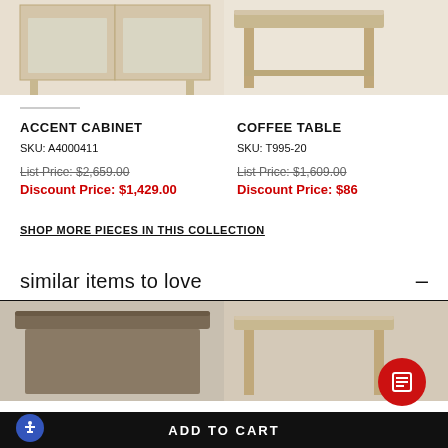[Figure (photo): Top-left: partial view of a light wood accent cabinet]
[Figure (photo): Top-right: partial view of a light wood coffee table]
ACCENT CABINET
SKU: A4000411
List Price: $2,659.00
Discount Price: $1,429.00
COFFEE TABLE
SKU: T995-20
List Price: $1,609.00
Discount Price: $86...
SHOP MORE PIECES IN THIS COLLECTION
similar items to love
[Figure (photo): Bottom-left: partial view of a dark wood square table top]
[Figure (photo): Bottom-right: partial view of a light wood side table]
ADD TO CART